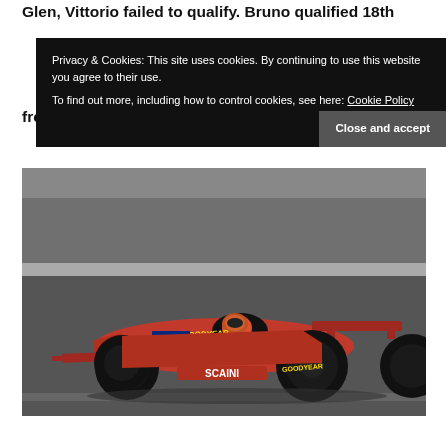Glen, Vittorio failed to qualify. Bruno qualified 18th
[Figure (screenshot): Cookie consent banner overlay with dark background reading: Privacy & Cookies: This site uses cookies. By continuing to use this website you agree to their use. To find out more, including how to control cookies, see here: Cookie Policy. With a 'Close and accept' button.]
from a spin.
[Figure (photo): A red Formula 1 racing car numbered 35 with SCAINI livery and Goodyear tires racing on a circuit, with spectators visible in the background.]